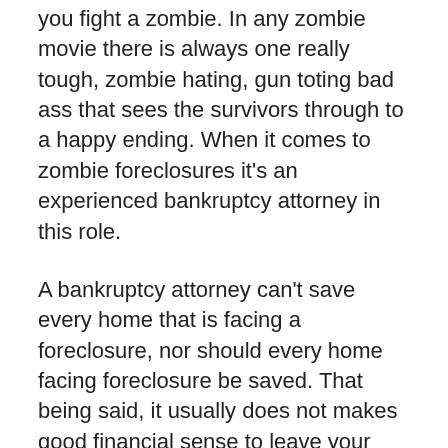you fight a zombie. In any zombie movie there is always one really tough, zombie hating, gun toting bad ass that sees the survivors through to a happy ending. When it comes to zombie foreclosures it's an experienced bankruptcy attorney in this role.
A bankruptcy attorney can't save every home that is facing a foreclosure, nor should every home facing foreclosure be saved. That being said, it usually does not makes good financial sense to leave your home before you are evicted. Lots of things can happen, and you have every right to stay in your home until you receive an eviction notice. Too many people are under the impression that the bank takes possession of a home at the start of a foreclosure proceeding. Underwater homeowners often abandon their home thinking it's the bank's problem, when in fact they are still on the book for all the mortgage debt and back taxes